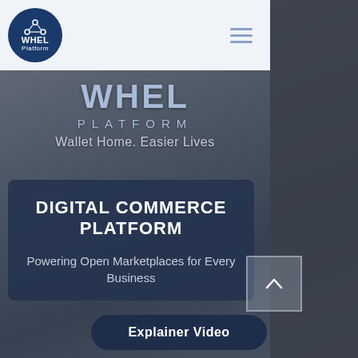[Figure (logo): WHEL Platform circular logo with node/connection icon on dark blue background]
WHEL PLATFORM
Wallet Home. Easier Lives
DIGITAL COMMERCE PLATFORM
Powering Open Marketplaces for Every Business
Explainer Video